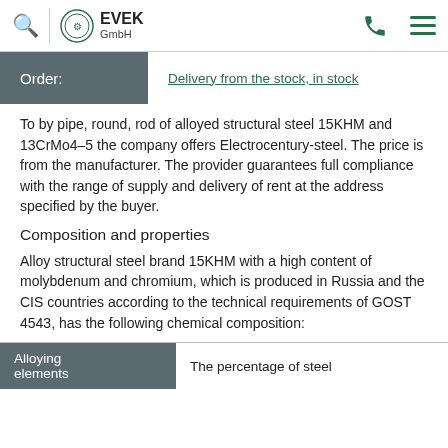EVEK GmbH — navigation header with search, logo, phone, and menu icons
Order: Delivery from the stock, in stock
To by pipe, round, rod of alloyed structural steel 15KHM and 13CrMo4–5 the company offers Electrocentury-steel. The price is from the manufacturer. The provider guarantees full compliance with the range of supply and delivery of rent at the address specified by the buyer.
Composition and properties
Alloy structural steel brand 15KHM with a high content of molybdenum and chromium, which is produced in Russia and the CIS countries according to the technical requirements of GOST 4543, has the following chemical composition:
| Alloying elements | The percentage of steel |
| --- | --- |